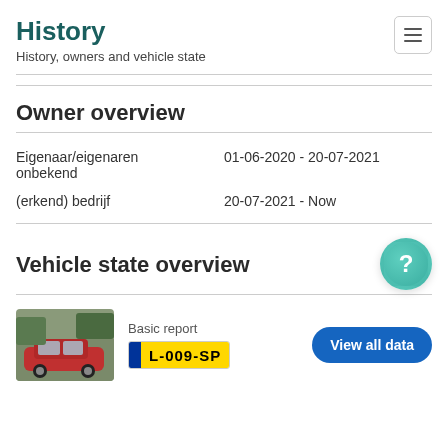History
History, owners and vehicle state
Owner overview
| Owner | Period |
| --- | --- |
| Eigenaar/eigenaren onbekend | 01-06-2020 - 20-07-2021 |
| (erkend) bedrijf | 20-07-2021 - Now |
Vehicle state overview
Basic report
L-009-SP
View all data